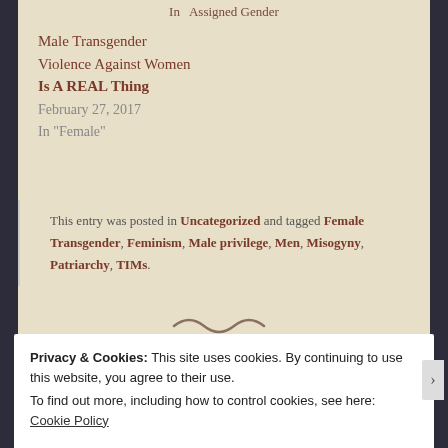In Assigned Gender
Male Transgender
Violence Against Women
Is A REAL Thing
February 27, 2017
In "Female"
This entry was posted in Uncategorized and tagged Female Transgender, Feminism, Male privilege, Men, Misogyny, Patriarchy, TIMs.
Privacy & Cookies: This site uses cookies. By continuing to use this website, you agree to their use.
To find out more, including how to control cookies, see here: Cookie Policy
Close and accept